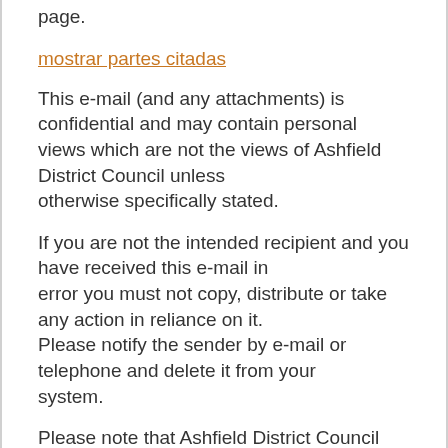page.
mostrar partes citadas
This e-mail (and any attachments) is confidential and may contain personal views which are not the views of Ashfield District Council unless otherwise specifically stated.
If you are not the intended recipient and you have received this e-mail in error you must not copy, distribute or take any action in reliance on it. Please notify the sender by e-mail or telephone and delete it from your system.
Please note that Ashfield District Council reserves the right, subject to